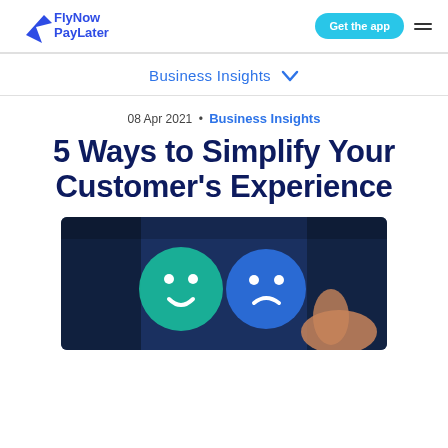FlyNow PayLater | Get the app
Business Insights
08 Apr 2021 • Business Insights
5 Ways to Simplify Your Customer's Experience
[Figure (photo): Close-up of a finger pressing a rating/feedback button on a tablet screen, showing smiley face icons on a dark blue background]